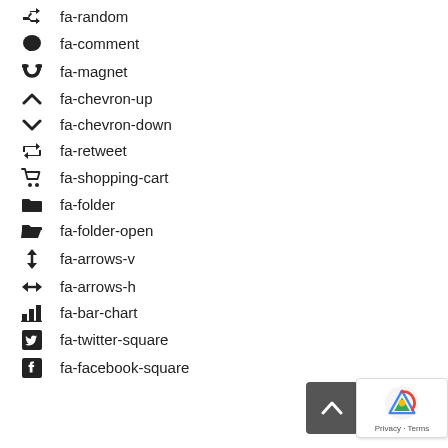fa-random
fa-comment
fa-magnet
fa-chevron-up
fa-chevron-down
fa-retweet
fa-shopping-cart
fa-folder
fa-folder-open
fa-arrows-v
fa-arrows-h
fa-bar-chart
fa-twitter-square
fa-facebook-square